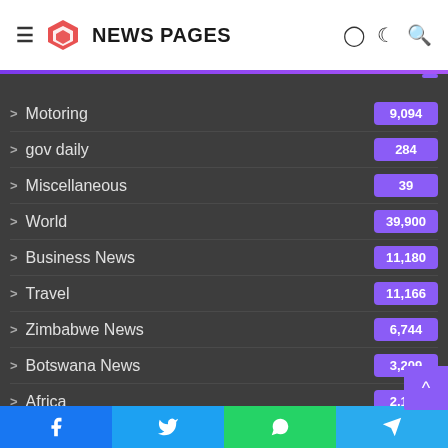NEWS PAGES
Motoring 9,094
gov daily 284
Miscellaneous 39
World 39,900
Business News 11,180
Travel 11,166
Zimbabwe News 6,744
Botswana News 3,209
Africa 2,131
Namibia News 2,014
Zambia News 2,...
Facebook Twitter WhatsApp Telegram